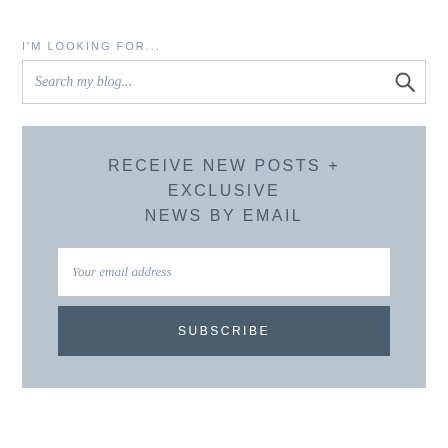I'M LOOKING FOR...
Search my blog...
RECEIVE NEW POSTS + EXCLUSIVE NEWS BY EMAIL
Your email address
SUBSCRIBE